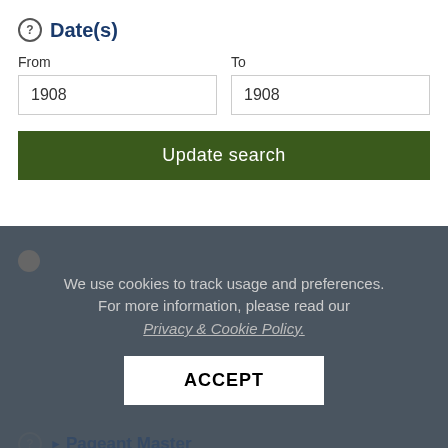Date(s)
From
1908
To
1908
Update search
Place
We use cookies to track usage and preferences. For more information, please read our Privacy & Cookie Policy.
ACCEPT
Pageant Master